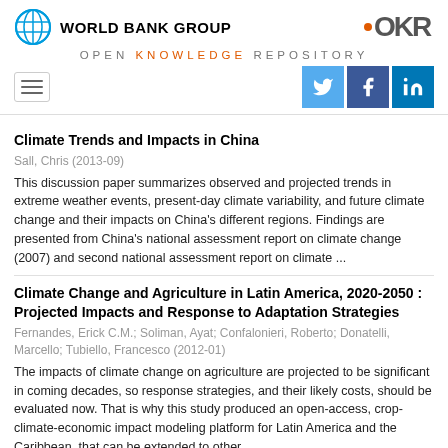WORLD BANK GROUP — OPEN KNOWLEDGE REPOSITORY
Climate Trends and Impacts in China
Sall, Chris (2013-09)
This discussion paper summarizes observed and projected trends in extreme weather events, present-day climate variability, and future climate change and their impacts on China's different regions. Findings are presented from China's national assessment report on climate change (2007) and second national assessment report on climate ...
Climate Change and Agriculture in Latin America, 2020-2050 : Projected Impacts and Response to Adaptation Strategies
Fernandes, Erick C.M.; Soliman, Ayat; Confalonieri, Roberto; Donatelli, Marcello; Tubiello, Francesco (2012-01)
The impacts of climate change on agriculture are projected to be significant in coming decades, so response strategies, and their likely costs, should be evaluated now. That is why this study produced an open-access, crop-climate-economic impact modeling platform for Latin America and the Caribbean, that can be extended to other ...